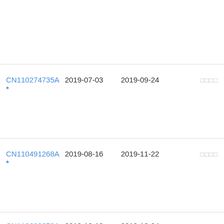| Patent ID | Filing Date | Publication Date | Flags |
| --- | --- | --- | --- |
| CN110274735A * | 2019-07-03 | 2019-09-24 | □□□□ |
| CN110491268A * | 2019-08-16 | 2019-11-22 | □□□□ |
| CN110608878A * | 2019-10-18 | 2019-12-24 | □□□□ |